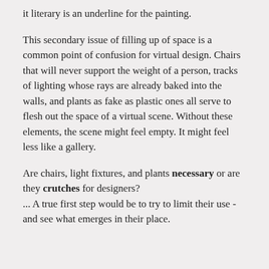it literary is an underline for the painting.
This secondary issue of filling up of space is a common point of confusion for virtual design. Chairs that will never support the weight of a person, tracks of lighting whose rays are already baked into the walls, and plants as fake as plastic ones all serve to flesh out the space of a virtual scene. Without these elements, the scene might feel empty. It might feel less like a gallery.
Are chairs, light fixtures, and plants necessary or are they crutches for designers?
... A true first step would be to try to limit their use - and see what emerges in their place.